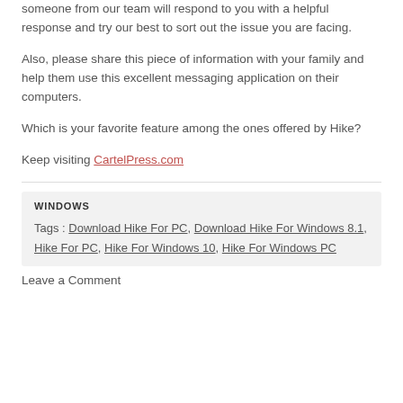someone from our team will respond to you with a helpful response and try our best to sort out the issue you are facing.
Also, please share this piece of information with your family and help them use this excellent messaging application on their computers.
Which is your favorite feature among the ones offered by Hike?
Keep visiting CartelPress.com
WINDOWS
Tags : Download Hike For PC, Download Hike For Windows 8.1, Hike For PC, Hike For Windows 10, Hike For Windows PC
Leave a Comment